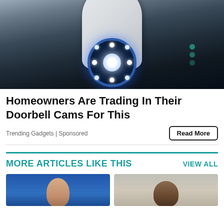[Figure (photo): Close-up photo of a white smart security camera with blue LED lights on its lens, mounted on a wall, dark background]
Homeowners Are Trading In Their Doorbell Cams For This
Trending Gadgets | Sponsored
Read More
MORE ARTICLES LIKE THIS
VIEW ALL
[Figure (photo): Two thumbnail photos of people: left shows a man with dark hair against a blue background, right shows a bald man against a light grey background]